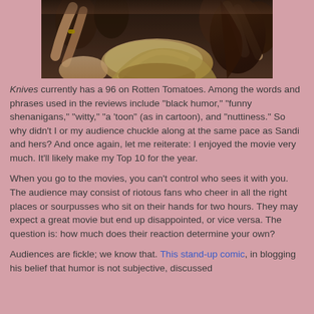[Figure (photo): Crowd of people at a concert or event, arms raised, blurred motion, photographed from behind/above]
Knives currently has a 96 on Rotten Tomatoes. Among the words and phrases used in the reviews include “black humor,” “funny shenanigans,” “witty,” “a ‘toon” (as in cartoon), and “nuttiness.” So why didn’t I or my audience chuckle along at the same pace as Sandi and hers? And once again, let me reiterate: I enjoyed the movie very much. It’ll likely make my Top 10 for the year.
When you go to the movies, you can’t control who sees it with you. The audience may consist of riotous fans who cheer in all the right places or sourpusses who sit on their hands for two hours. They may expect a great movie but end up disappointed, or vice versa. The question is: how much does their reaction determine your own?
Audiences are fickle; we know that. This stand-up comic, in blogging his belief that humor is not subjective, discussed